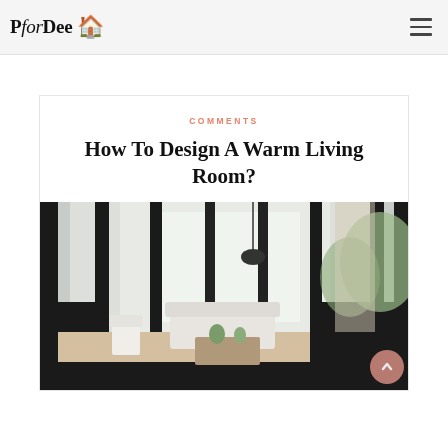PforDee
COMMENTS
How To Design A Warm Living Room?
[Figure (photo): Interior photo of a modern living room viewed through black-framed glass partition walls, showing white furniture, a coffee table with plants, and bright windows in the background.]